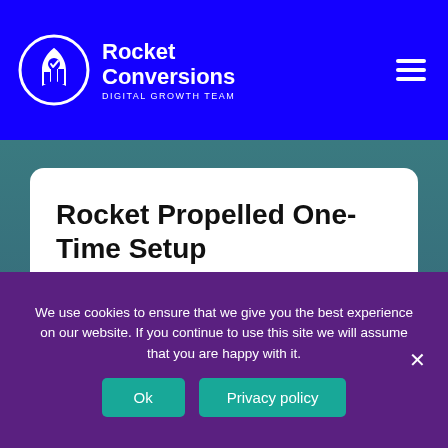Rocket Conversions DIGITAL GROWTH TEAM
Rocket Propelled One-Time Setup
We'll build you a high-performing conversion engine and you drive it by yourself.
We use cookies to ensure that we give you the best experience on our website. If you continue to use this site we will assume that you are happy with it.